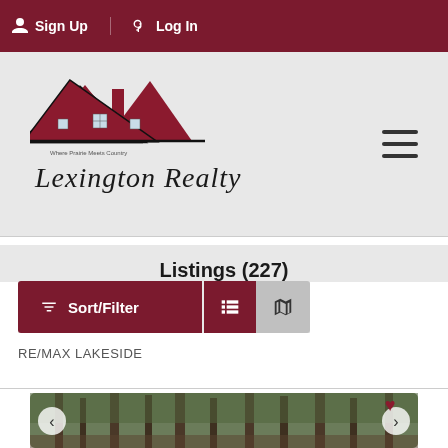Sign Up  Log In
[Figure (logo): Lexington Realty logo with house silhouette and script text]
Listings (227)
Sort/Filter
RE/MAX LAKESIDE
[Figure (photo): Forest scene with tall pine trees, a red heart icon in the top right corner, and carousel navigation arrows on the sides]